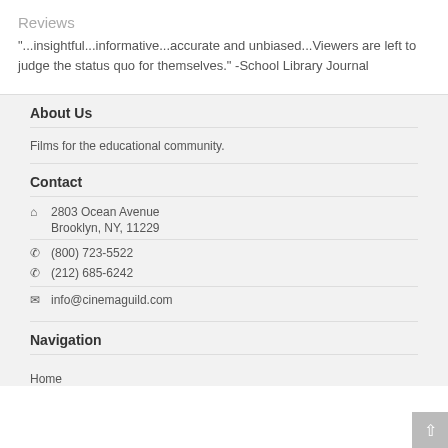Reviews
"...insightful...informative...accurate and unbiased...Viewers are left to judge the status quo for themselves." -School Library Journal
About Us
Films for the educational community.
Contact
2803 Ocean Avenue
Brooklyn, NY, 11229
(800) 723-5522
(212) 685-6242
info@cinemaguild.com
Navigation
Home